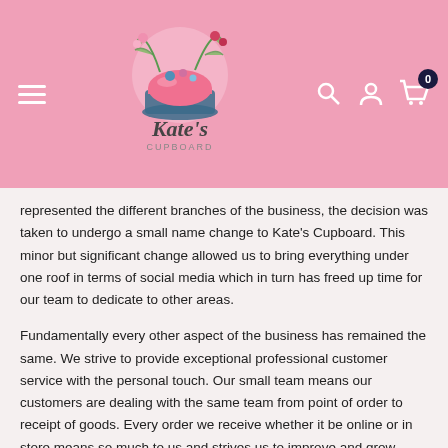[Figure (logo): Kate's Cupboard logo with pink cake and decorative elements]
represented the different branches of the business, the decision was taken to undergo a small name change to Kate's Cupboard. This minor but significant change allowed us to bring everything under one roof in terms of social media which in turn has freed up time for our team to dedicate to other areas.
Fundamentally every other aspect of the business has remained the same. We strive to provide exceptional professional customer service with the personal touch. Our small team means our customers are dealing with the same team from point of order to receipt of goods. Every order we receive whether it be online or in store means so much to us and strives us to improve and grow every day.
For me it's personal, even more so now I have 'literally' put my name to the business and hearing your word-of-mouth recommendations